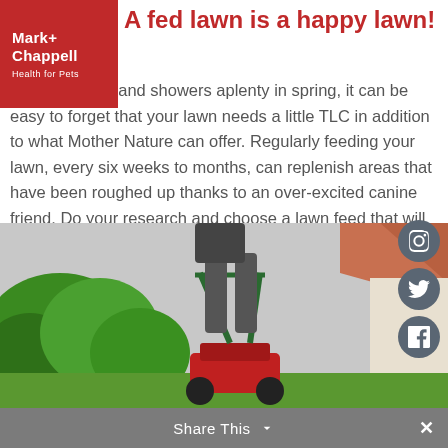[Figure (logo): Mark+Chappell Health for Pets logo, red background with white text]
A fed lawn is a happy lawn!
With sunshine and showers aplenty in spring, it can be easy to forget that your lawn needs a little TLC in addition to what Mother Nature can offer. Regularly feeding your lawn, every six weeks to months, can replenish areas that have been roughed up thanks to an over-excited canine friend. Do your research and choose a lawn feed that will feed your lawn and perhaps offer protection from weeds, while also being pet friendly.
[Figure (photo): Person pushing a lawnmower on a garden lawn with green shrubbery and houses in background]
Share This ∨  ×